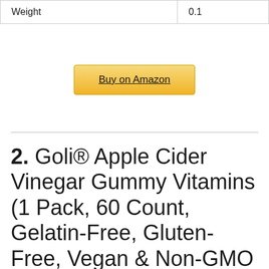| Weight | 0.1 |
Buy on Amazon
2. Goli® Apple Cider Vinegar Gummy Vitamins (1 Pack, 60 Count, Gelatin-Free, Gluten-Free, Vegan & Non-GMO Made with Essential Vitamins B9 & B12)